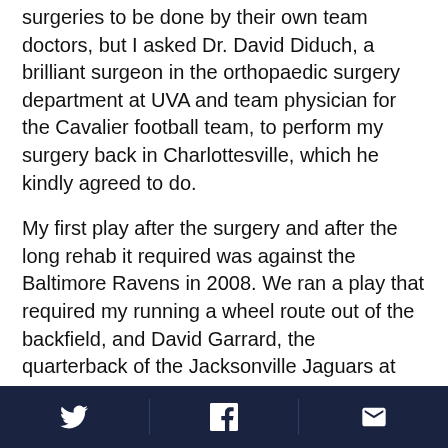surgeries to be done by their own team doctors, but I asked Dr. David Diduch, a brilliant surgeon in the orthopaedic surgery department at UVA and team physician for the Cavalier football team, to perform my surgery back in Charlottesville, which he kindly agreed to do.
My first play after the surgery and after the long rehab it required was against the Baltimore Ravens in 2008. We ran a play that required my running a wheel route out of the backfield, and David Garrard, the quarterback of the Jacksonville Jaguars at the time, threw me a beautiful touchdown pass – similar to the one Matt Schaub threw to me to help us beat Virginia Tech in 2003. I took the game ball from that
[Twitter] [Facebook] [Email]